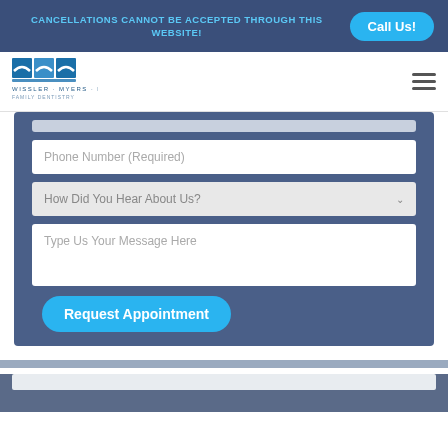CANCELLATIONS CANNOT BE ACCEPTED THROUGH THIS WEBSITE!
[Figure (logo): Wissler Myers Kallies Family Dentistry logo with blue square design]
Phone Number (Required)
How Did You Hear About Us?
Type Us Your Message Here
Request Appointment